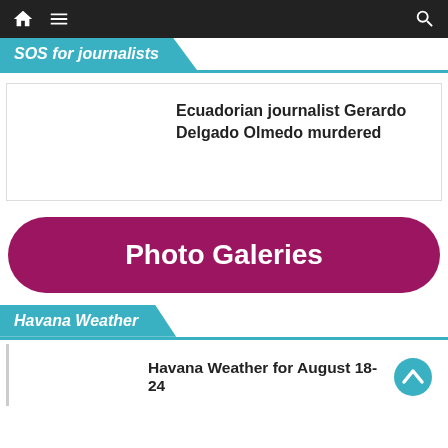SOS for journalists
Ecuadorian journalist Gerardo Delgado Olmedo murdered
Photo Galeries
Havana Weather
Havana Weather for August 18-24